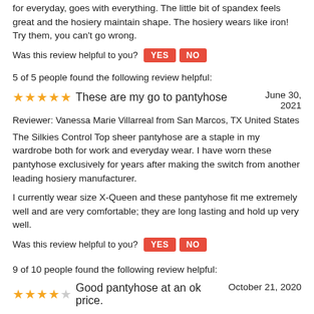for everyday, goes with everything. The little bit of spandex feels great and the hosiery maintain shape. The hosiery wears like iron! Try them, you can't go wrong.
Was this review helpful to you? YES NO
5 of 5 people found the following review helpful:
★★★★★ These are my go to pantyhose  June 30, 2021
Reviewer: Vanessa Marie Villarreal from San Marcos, TX United States
The Silkies Control Top sheer pantyhose are a staple in my wardrobe both for work and everyday wear. I have worn these pantyhose exclusively for years after making the switch from another leading hosiery manufacturer.
I currently wear size X-Queen and these pantyhose fit me extremely well and are very comfortable; they are long lasting and hold up very well.
Was this review helpful to you? YES NO
9 of 10 people found the following review helpful:
★★★★☆ Good pantyhose at an ok price.  October 21, 2020